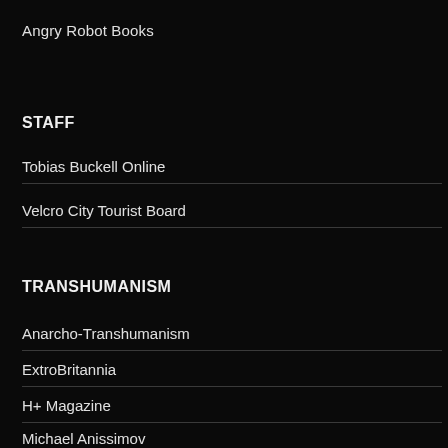Angry Robot Books
STAFF
Tobias Buckell Online
Velcro City Tourist Board
TRANSHUMANISM
Anarcho-Transhumanism
ExtroBritannia
H+ Magazine
Michael Anissimov